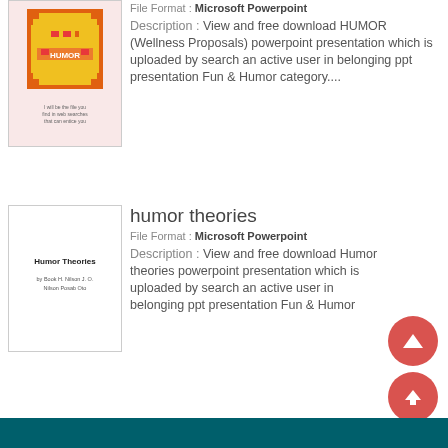[Figure (screenshot): Thumbnail of HUMOR (Wellness Proposals) PowerPoint cover with pixel smiley face on orange/red background]
File Format : Microsoft Powerpoint
Description : View and free download HUMOR (Wellness Proposals) powerpoint presentation which is uploaded by search an active user in belonging ppt presentation Fun & Humor category....
humor theories
[Figure (screenshot): Thumbnail of Humor Theories PowerPoint presentation cover with text on white background]
File Format : Microsoft Powerpoint
Description : View and free download Humor theories powerpoint presentation which is uploaded by search an active user in belonging ppt presentation Fun & Humor